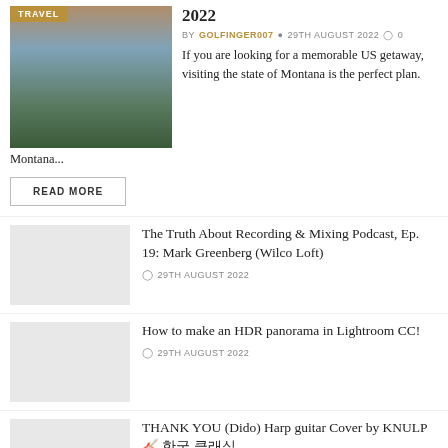[Figure (photo): Mountain lake landscape photo with pine trees and dramatic sky, tagged TRAVEL]
2022
BY GOLFINGER007  29TH AUGUST 2022  0
If you are looking for a memorable US getaway, visiting the state of Montana is the perfect plan. Montana...
READ MORE
The Truth About Recording & Mixing Podcast, Ep. 19: Mark Greenberg (Wilco Loft)
29TH AUGUST 2022
How to make an HDR panorama in Lightroom CC!
29TH AUGUST 2022
THANK YOU (Dido) Harp guitar Cover by KNULP 🎸 한국 클래식
29TH AUGUST 2022